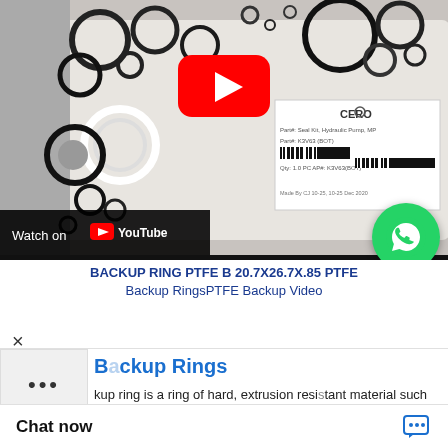[Figure (screenshot): Video thumbnail showing hydraulic pump seal kit with O-rings and CERO brand label, with YouTube play button overlay and Watch on YouTube bar at bottom]
BACKUP RING PTFE B 20.7X26.7X.85 PTFE Backup RingsPTFE Backup Video
[Figure (logo): WhatsApp Online green circle logo with phone handset icon and text WhatsApp Online]
×
Backup Rings
A backup ring is a ring of hard, extrusion resistant material such as high-durometer Nitrile, Viton® (FKM), or PTFE. A backup ring is
Chat now